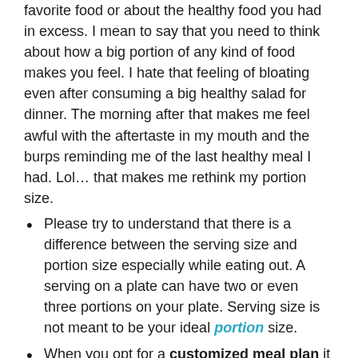favorite food or about the healthy food you had in excess. I mean to say that you need to think about how a big portion of any kind of food makes you feel. I hate that feeling of bloating even after consuming a big healthy salad for dinner. The morning after that makes me feel awful with the aftertaste in my mouth and the burps reminding me of the last healthy meal I had. Lol… that makes me rethink my portion size.
Please try to understand that there is a difference between the serving size and portion size especially while eating out. A serving on a plate can have two or even three portions on your plate. Serving size is not meant to be your ideal portion size.
When you opt for a customized meal plan it should clearly mention your portion size not serving size.
The right portion of food is the amount that can allow you to keep the body full of energy and nutrients with satisfaction and keep you away from cravings.